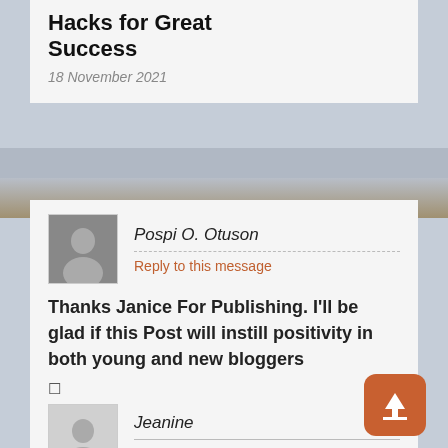Hacks for Great Success
18 November 2021
Pospi O. Otuson
Reply to this message
Thanks Janice For Publishing. I'll be glad if this Post will instill positivity in both young and new bloggers
Jeanine
Reply to this message